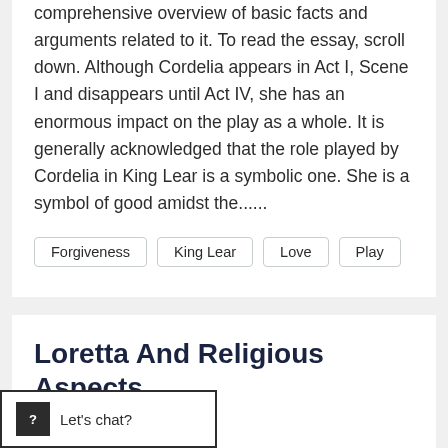comprehensive overview of basic facts and arguments related to it. To read the essay, scroll down. Although Cordelia appears in Act I, Scene I and disappears until Act IV, she has an enormous impact on the play as a whole. It is generally acknowledged that the role played by Cordelia in King Lear is a symbolic one. She is a symbol of good amidst the......
Forgiveness
King Lear
Love
Play
Loretta And Religious Aspects
Words • 679    Pages • 3
sample essay on Loretta and religious aspects conveys clearly through this unforgettable movie. Additionally, regarding what